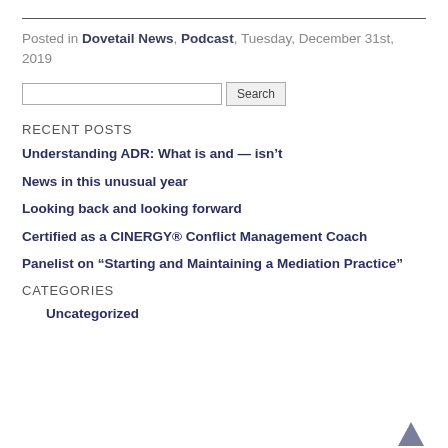Posted in Dovetail News, Podcast, Tuesday, December 31st, 2019
Search
RECENT POSTS
Understanding ADR: What is and — isn't
News in this unusual year
Looking back and looking forward
Certified as a CINERGY® Conflict Management Coach
Panelist on “Starting and Maintaining a Mediation Practice”
CATEGORIES
Uncategorized